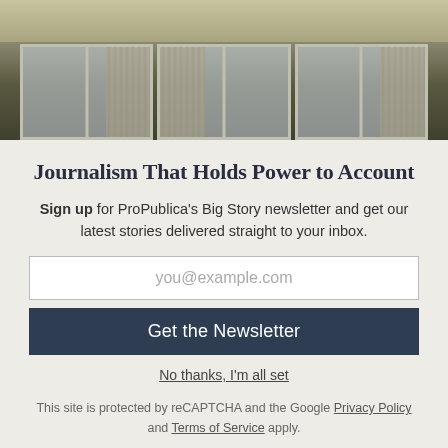[Figure (photo): Photo of a building exterior showing windows with curtains, yellow-beige stucco wall above]
Journalism That Holds Power to Account
Sign up for ProPublica's Big Story newsletter and get our latest stories delivered straight to your inbox.
you@example.com
Get the Newsletter
No thanks, I'm all set
This site is protected by reCAPTCHA and the Google Privacy Policy and Terms of Service apply.